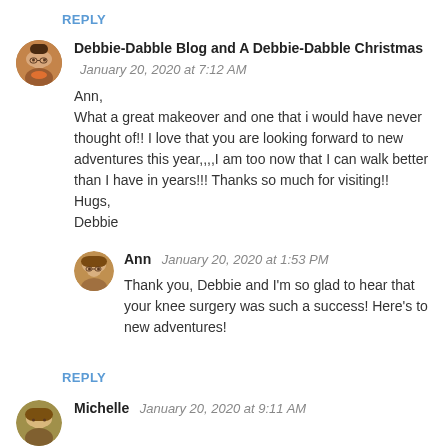REPLY
Debbie-Dabble Blog and A Debbie-Dabble Christmas  January 20, 2020 at 7:12 AM
Ann,
What a great makeover and one that i would have never thought of!! I love that you are looking forward to new adventures this year,,,,I am too now that I can walk better than I have in years!!! Thanks so much for visiting!!
Hugs,
Debbie
Ann  January 20, 2020 at 1:53 PM
Thank you, Debbie and I'm so glad to hear that your knee surgery was such a success! Here's to new adventures!
REPLY
Michelle  January 20, 2020 at 9:11 AM